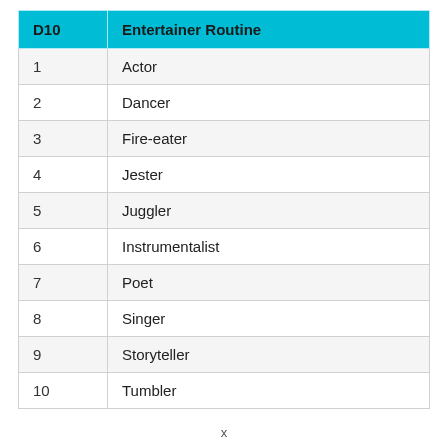| D10 | Entertainer Routine |
| --- | --- |
| 1 | Actor |
| 2 | Dancer |
| 3 | Fire-eater |
| 4 | Jester |
| 5 | Juggler |
| 6 | Instrumentalist |
| 7 | Poet |
| 8 | Singer |
| 9 | Storyteller |
| 10 | Tumbler |
x